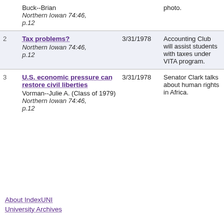| # | Title / Author / Source | Date | Description |
| --- | --- | --- | --- |
|  | Buck--Brian
Northern Iowan 74:46, p.12 |  | photo. |
| 2 | Tax problems?
Northern Iowan 74:46, p.12 | 3/31/1978 | Accounting Club will assist students with taxes under VITA program. |
| 3 | U.S. economic pressure can restore civil liberties
Vorman--Julie A. (Class of 1979)
Northern Iowan 74:46, p.12 | 3/31/1978 | Senator Clark talks about human rights in Africa. |
About IndexUNI
University Archives